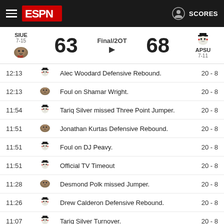ESPN SCORES
| Time | Team | Description | Score |
| --- | --- | --- | --- |
| 12:13 | APSU | Alec Woodard Defensive Rebound. | 20 - 8 |
| 12:13 | SIUE | Foul on Shamar Wright. | 20 - 8 |
| 11:54 | APSU | Tariq Silver missed Three Point Jumper. | 20 - 8 |
| 11:51 | SIUE | Jonathan Kurtas Defensive Rebound. | 20 - 8 |
| 11:51 | APSU | Foul on DJ Peavy. | 20 - 8 |
| 11:51 | APSU | Official TV Timeout | 20 - 8 |
| 11:28 | SIUE | Desmond Polk missed Jumper. | 20 - 8 |
| 11:26 | APSU | Drew Calderon Defensive Rebound. | 20 - 8 |
| 11:07 | APSU | Tariq Silver Turnover. | 20 - 8 |
| 11:07 | SIUE | Courtney Carter Steal. | 20 - 8 |